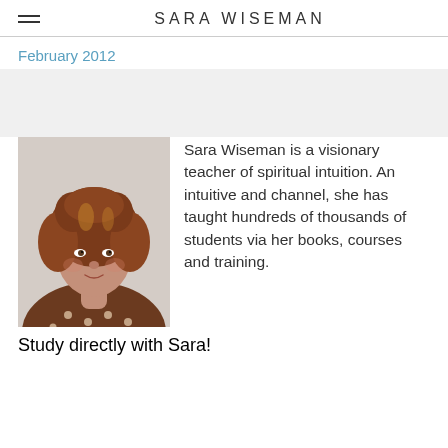SARA WISEMAN
February 2012
[Figure (photo): Portrait photo of Sara Wiseman, a woman with curly reddish-brown hair, wearing a brown polka-dot top, photographed against a light background.]
Sara Wiseman is a visionary teacher of spiritual intuition. An intuitive and channel, she has taught hundreds of thousands of students via her books, courses and training.
Study directly with Sara!